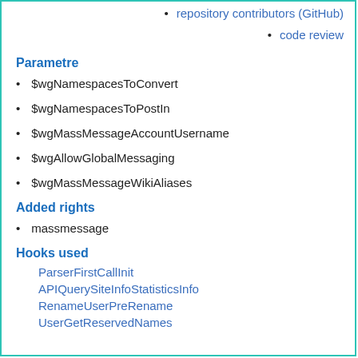repository contributors (GitHub)
code review
Parametre
$wgNamespacesToConvert
$wgNamespacesToPostIn
$wgMassMessageAccountUsername
$wgAllowGlobalMessaging
$wgMassMessageWikiAliases
Added rights
massmessage
Hooks used
ParserFirstCallInit
APIQuerySiteInfoStatisticsInfo
RenameUserPreRename
UserGetReservedNames